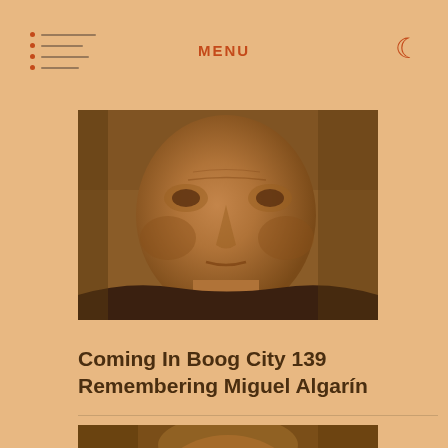MENU
[Figure (photo): Close-up black and white portrait of a man with deep facial lines, rendered in a warm sepia/orange tone overlay]
Coming In Boog City 139 Remembering Miguel Algarín
[Figure (photo): Partial portrait of a person, cropped at bottom, rendered in warm brown/orange tone]